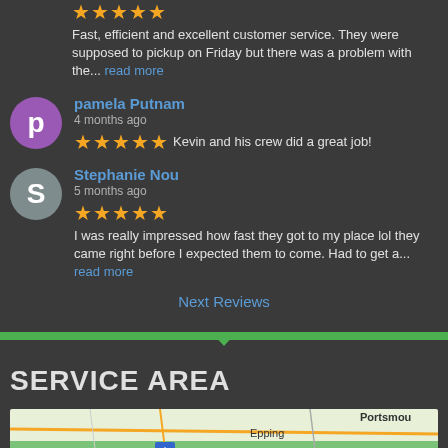Fast, efficient and excellent customer service. They were supposed to pickup on Friday but there was a problem with the... read more
pamela Putnam
4 months ago
★★★★★ Kevin and his crew did a great job!
Stephanie Nou
5 months ago
★★★★★ I was really impressed how fast they got to my place lol they came right before I expected them to come. Had to get a... read more
Next Reviews
SERVICE AREA
[Figure (map): Map showing service area including Epping, Portsmouth, Manchester regions with road networks]